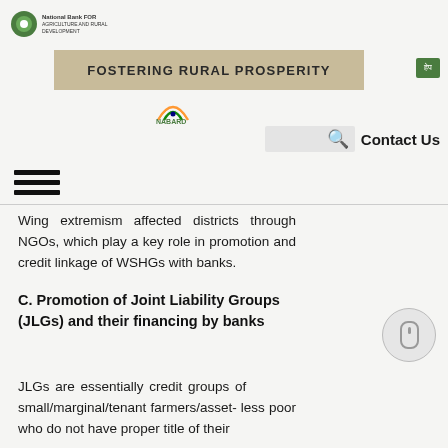FOSTERING RURAL PROSPERITY
[Figure (logo): NABARD logo with circular emblem and text]
Wing extremism affected districts through NGOs, which play a key role in promotion and credit linkage of WSHGs with banks.
C. Promotion of Joint Liability Groups (JLGs) and their financing by banks
JLGs are essentially credit groups of small/marginal/tenant farmers/asset- less poor who do not have proper title of their